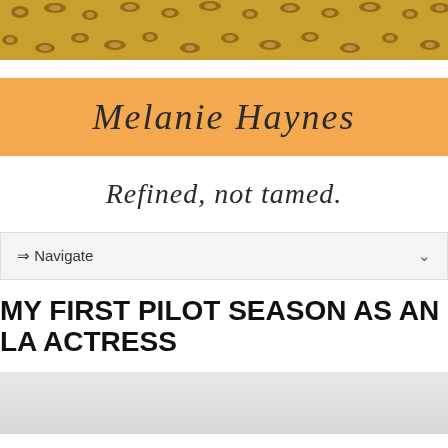[Figure (photo): Leopard print pattern banner at the top of the page]
Melanie Haynes
Refined, not tamed.
⇒ Navigate
MY FIRST PILOT SEASON AS AN LA ACTRESS
[Figure (photo): Partially visible image at the bottom of the page with light gray background]